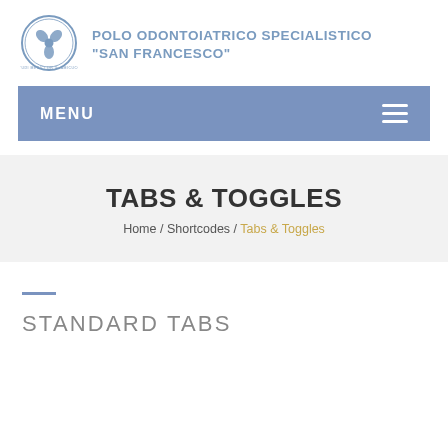[Figure (logo): Polo Odontoiatrico Specialistico San Francesco circular logo with a cross/medical symbol in blue]
POLO ODONTOIATRICO SPECIALISTICO "SAN FRANCESCO"
MENU
TABS & TOGGLES
Home / Shortcodes / Tabs & Toggles
STANDARD TABS